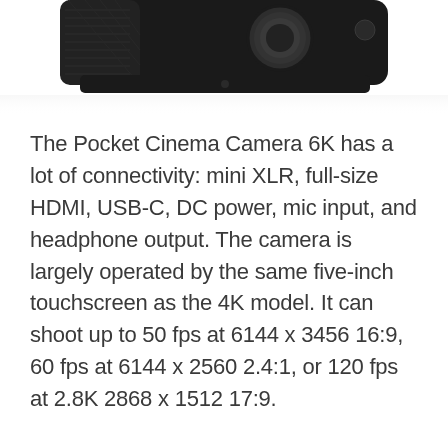[Figure (photo): Top portion of a Blackmagic Pocket Cinema Camera 6K, showing the top panel with textured carbon fiber grip, lens mount area, and camera body against a white background.]
The Pocket Cinema Camera 6K has a lot of connectivity: mini XLR, full-size HDMI, USB-C, DC power, mic input, and headphone output. The camera is largely operated by the same five-inch touchscreen as the 4K model. It can shoot up to 50 fps at 6144 x 3456 16:9, 60 fps at 6144 x 2560 2.4:1, or 120 fps at 2.8K 2868 x 1512 17:9.